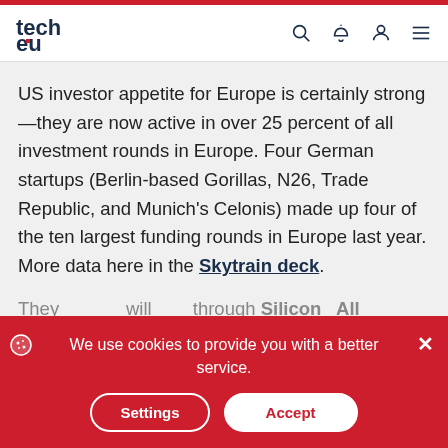tech.eu
US investor appetite for Europe is certainly strong—they are now active in over 25 percent of all investment rounds in Europe. Four German startups (Berlin-based Gorillas, N26, Trade Republic, and Munich's Celonis) made up four of the ten largest funding rounds in Europe last year. More data here in the Skytrain deck.
They ... Silicon All
support startup founders in the capital. His
We use cookies to provide you with a better service.
Settings
Accept